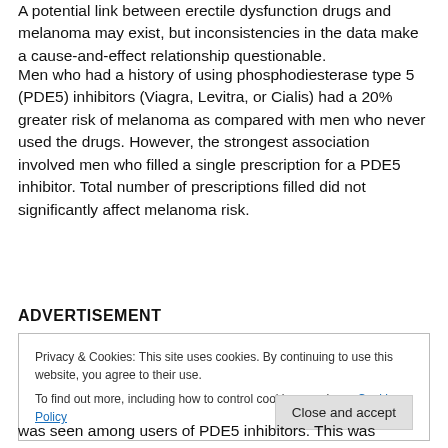A potential link between erectile dysfunction drugs and melanoma may exist, but inconsistencies in the data make a cause-and-effect relationship questionable.
Men who had a history of using phosphodiesterase type 5 (PDE5) inhibitors (Viagra, Levitra, or Cialis) had a 20% greater risk of melanoma as compared with men who never used the drugs. However, the strongest association involved men who filled a single prescription for a PDE5 inhibitor. Total number of prescriptions filled did not significantly affect melanoma risk.
ADVERTISEMENT
Privacy & Cookies: This site uses cookies. By continuing to use this website, you agree to their use.
To find out more, including how to control cookies, see here: Cookie Policy
was seen among users of PDE5 inhibitors. This was